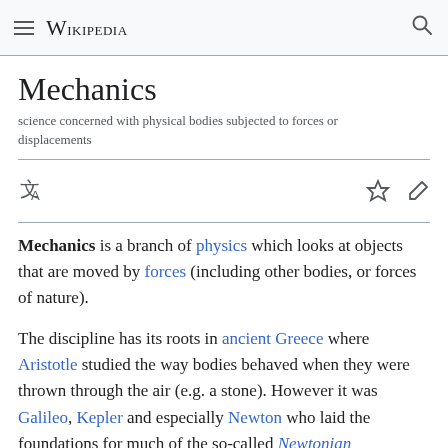Wikipedia
Mechanics
science concerned with physical bodies subjected to forces or displacements
Mechanics is a branch of physics which looks at objects that are moved by forces (including other bodies, or forces of nature).
The discipline has its roots in ancient Greece where Aristotle studied the way bodies behaved when they were thrown through the air (e.g. a stone). However it was Galileo, Kepler and especially Newton who laid the foundations for much of the so-called Newtonian